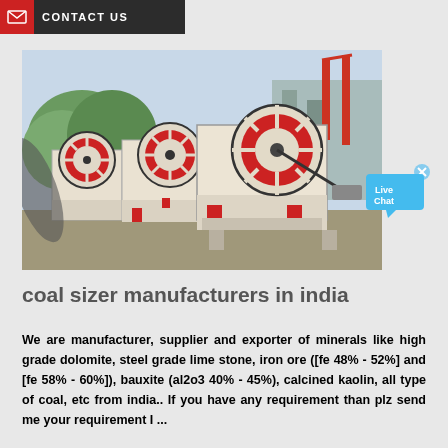CONTACT US
[Figure (photo): Industrial jaw crusher machines parked outdoors at a manufacturing facility. Multiple cream/white colored heavy-duty jaw crushers with red flywheel discs are visible, set against a background of trees and industrial structures.]
[Figure (infographic): Live Chat speech bubble widget in cyan/blue color with 'Live Chat' text and an X close button.]
coal sizer manufacturers in india
We are manufacturer, supplier and exporter of minerals like high grade dolomite, steel grade lime stone, iron ore ([fe 48% - 52%] and [fe 58% - 60%]), bauxite (al2o3 40% - 45%), calcined kaolin, all type of coal, etc from india.. If you have any requirement than plz send me your requirement I ...